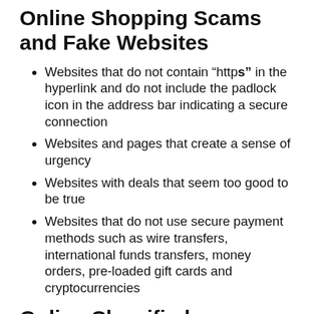Online Shopping Scams and Fake Websites
Websites that do not contain “https” in the hyperlink and do not include the padlock icon in the address bar indicating a secure connection
Websites and pages that create a sense of urgency
Websites with deals that seem too good to be true
Websites that do not use secure payment methods such as wire transfers, international funds transfers, money orders, pre-loaded gift cards and cryptocurrencies
Online Classifieds